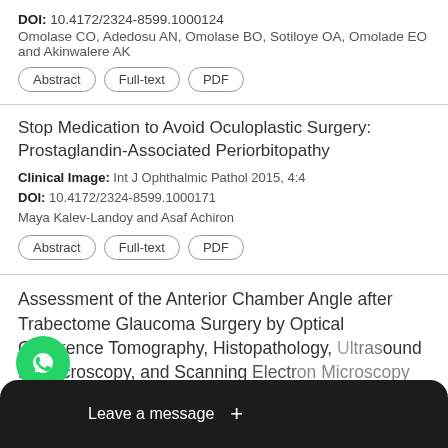DOI: 10.4172/2324-8599.1000124
Omolase CO, Adedosu AN, Omolase BO, Sotiloye OA, Omolade EO and Akinwalere AK
Abstract | Full-text | PDF
Stop Medication to Avoid Oculoplastic Surgery: Prostaglandin-Associated Periorbitopathy
Clinical Image: Int J Ophthalmic Pathol 2015, 4:4
DOI: 10.4172/2324-8599.1000171
Maya Kalev-Landoy and Asaf Achiron
Abstract | Full-text | PDF
Assessment of the Anterior Chamber Angle after Trabectome Glaucoma Surgery by Optical Coherence Tomography, Histopathology, Ultrasound Biomicroscopy, and Scanning Electron Microscopy
Int J Ophthalmic Pathol 2013, 2:4
DOI: